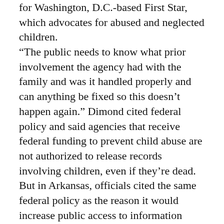for Washington, D.C.-based First Star, which advocates for abused and neglected children. “The public needs to know what prior involvement the agency had with the family and was it handled properly and can anything be fixed so this doesn’t happen again.” Dimond cited federal policy and said agencies that receive federal funding to prevent child abuse are not authorized to release records involving children, even if they’re dead. But in Arkansas, officials cited the same federal policy as the reason it would increase public access to information about child deaths, according to The Tennessean. That state began putting detailed information about child deaths online in a searchable public database. And in Colorado, the public can access routine fatality reviews that discuss whether department policies or state laws were violated by caseworkers. When DCS released the information in September, Gov.